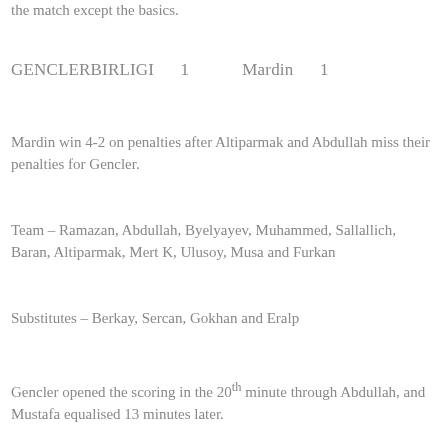the match except the basics.
GENCLERBIRLIGI    1         Mardin    1
Mardin win 4-2 on penalties after Altiparmak and Abdullah miss their penalties for Gencler.
Team – Ramazan, Abdullah, Byelyayev, Muhammed, Sallallich, Baran, Altiparmak, Mert K, Ulusoy, Musa and Furkan
Substitutes – Berkay, Sercan, Gokhan and Eralp
Gencler opened the scoring in the 20th minute through Abdullah, and Mustafa equalised 13 minutes later.